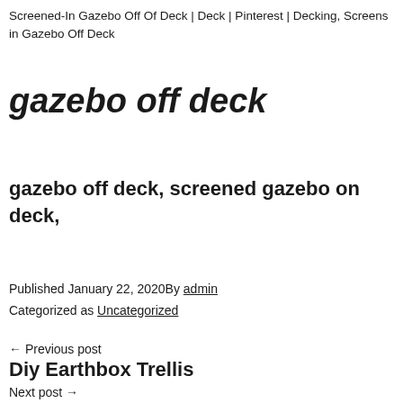Screened-In Gazebo Off Of Deck | Deck | Pinterest | Decking, Screens in Gazebo Off Deck
gazebo off deck
gazebo off deck, screened gazebo on deck,
Published January 22, 2020By admin
Categorized as Uncategorized
← Previous post
Diy Earthbox Trellis
Next post →